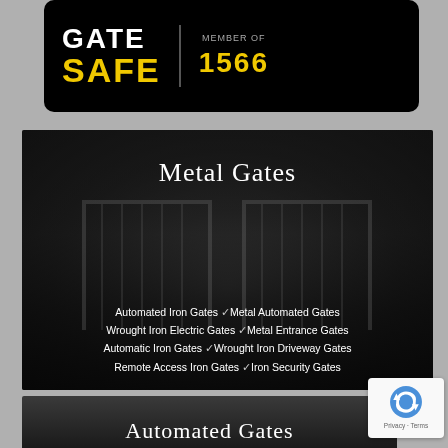[Figure (logo): Gate Safe logo on black background with member number 1566]
[Figure (photo): Metal gates photo with overlay text listing gate types: Automated Iron Gates, Wrought Iron Electric Gates, Automatic Iron Gates, Remote Access Iron Gates, Metal Automated Gates, Metal Entrance Gates, Wrought Iron Driveway Gates, Iron Security Gates]
Metal Gates
Automated Iron Gates
Metal Automated Gates
Wrought Iron Electric Gates
Metal Entrance Gates
Automatic Iron Gates
Wrought Iron Driveway Gates
Remote Access Iron Gates
Iron Security Gates
[Figure (photo): Partial photo at bottom with Automated Gates title text visible]
Automated Gates